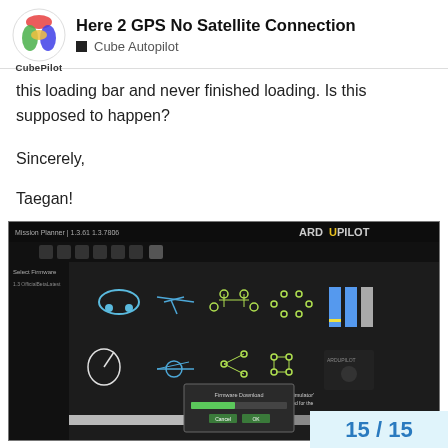Here 2 GPS No Satellite Connection | Cube Autopilot
this loading bar and never finished loading. Is this supposed to happen?
Sincerely,
Taegan!
[Figure (screenshot): Screenshot of ArduPilot Mission Planner software showing vehicle selection screen with a dialog box containing a loading/progress bar in the center]
15 / 15